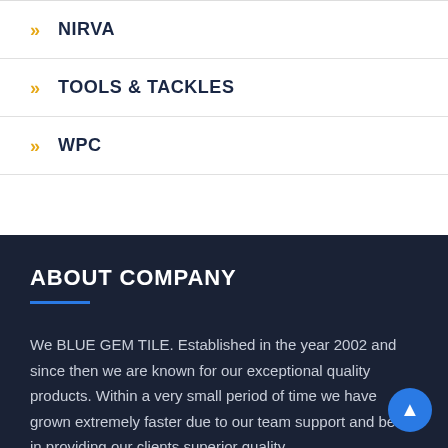NIRVA
TOOLS & TACKLES
WPC
ABOUT COMPANY
We BLUE GEM TILE. Established in the year 2002 and since then we are known for our exceptional quality products. Within a very small period of time we have grown extremely faster due to our team support and belief in providing our clients superior quality...